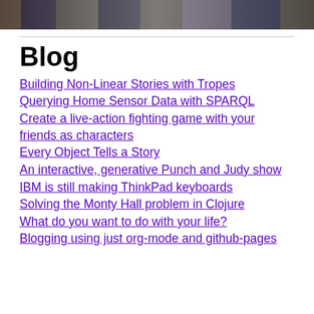[Figure (photo): A cropped photo strip showing people in costumes or formal wear, partially visible at the top of the page]
Blog
Building Non-Linear Stories with Tropes
Querying Home Sensor Data with SPARQL
Create a live-action fighting game with your friends as characters
Every Object Tells a Story
An interactive, generative Punch and Judy show
IBM is still making ThinkPad keyboards
Solving the Monty Hall problem in Clojure
What do you want to do with your life?
Blogging using just org-mode and github-pages